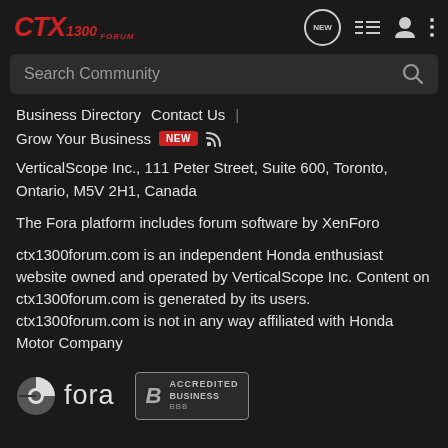CTX1300 Forum — header with logo, search, and navigation icons
Search Community
Business Directory   Contact Us   |   Grow Your Business  NEW
VerticalScope Inc., 111 Peter Street, Suite 600, Toronto, Ontario, M5V 2H1, Canada
The Fora platform includes forum software by XenForo
ctx1300forum.com is an independent Honda enthusiast website owned and operated by VerticalScope Inc. Content on ctx1300forum.com is generated by its users. ctx1300forum.com is not in any way affiliated with Honda Motor Company
[Figure (logo): Fora platform logo (globe icon + 'fora' wordmark) and BBB Accredited Business badge]